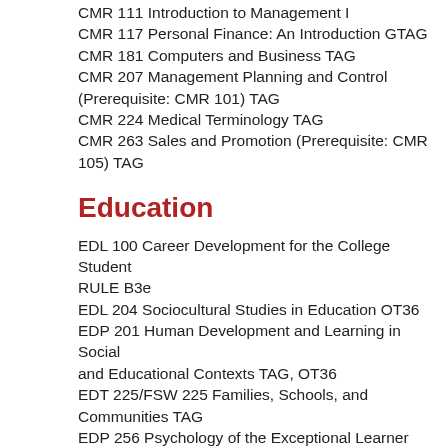CMR 111 Introduction to Management I
CMR 117 Personal Finance: An Introduction GTAG
CMR 181 Computers and Business TAG
CMR 207 Management Planning and Control (Prerequisite: CMR 101) TAG
CMR 224 Medical Terminology TAG
CMR 263 Sales and Promotion (Prerequisite: CMR 105) TAG
Education
EDL 100 Career Development for the College Student RULE B3e
EDL 204 Sociocultural Studies in Education OT36
EDP 201 Human Development and Learning in Social and Educational Contexts TAG, OT36
EDT 225/FSW 225 Families, Schools, and Communities TAG
EDP 256 Psychology of the Exceptional Learner TAG
EDT 110R Learning Strategies RULE B3e
EDT 190 Introduction to Education TAG, CTAG
EDT 272P Early Childhood Development TAG